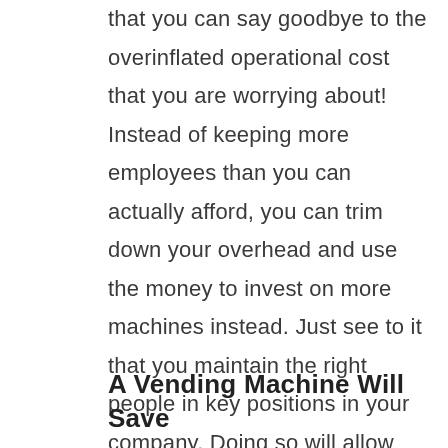that you can say goodbye to the overinflated operational cost that you are worrying about! Instead of keeping more employees than you can actually afford, you can trim down your overhead and use the money to invest on more machines instead. Just see to it that you maintain the right people in key positions in your company. Doing so will allow you to effectively offer and sell your products to your market without worrying about lowing track of your business' milestones.
A Vending Machine Will Save